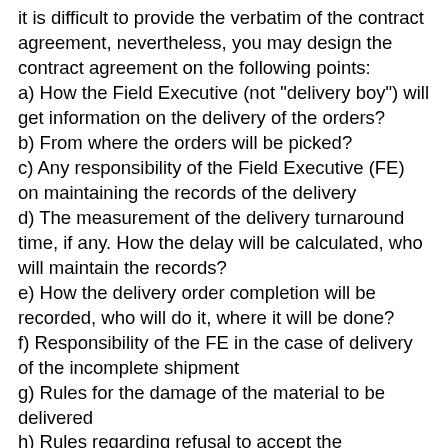it is difficult to provide the verbatim of the contract agreement, nevertheless, you may design the contract agreement on the following points:
a) How the Field Executive (not "delivery boy") will get information on the delivery of the orders?
b) From where the orders will be picked?
c) Any responsibility of the Field Executive (FE) on maintaining the records of the delivery
d) The measurement of the delivery turnaround time, if any. How the delay will be calculated, who will maintain the records?
e) How the delivery order completion will be recorded, who will do it, where it will be done?
f) Responsibility of the FE in the case of delivery of the incomplete shipment
g) Rules for the damage of the material to be delivered
h) Rules regarding refusal to accept the